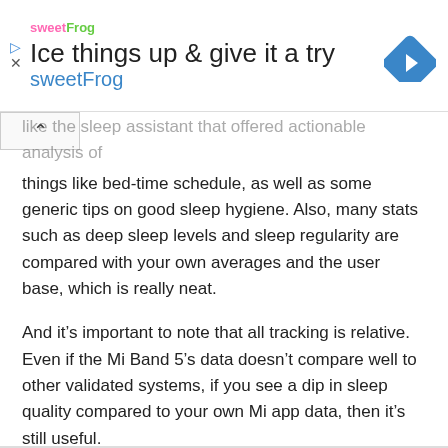[Figure (other): sweetFrog advertisement banner with logo, text 'Ice things up & give it a try', 'sweetFrog', and a blue diamond navigation icon]
like the sleep assistant that offered actionable analysis of things like bed-time schedule, as well as some generic tips on good sleep hygiene. Also, many stats such as deep sleep levels and sleep regularity are compared with your own averages and the user base, which is really neat.
And it's important to note that all tracking is relative. Even if the Mi Band 5's data doesn't compare well to other validated systems, if you see a dip in sleep quality compared to your own Mi app data, then it's still useful.
But we are concerned that sleep data was so far out of sync with both Fitbit and Withings.